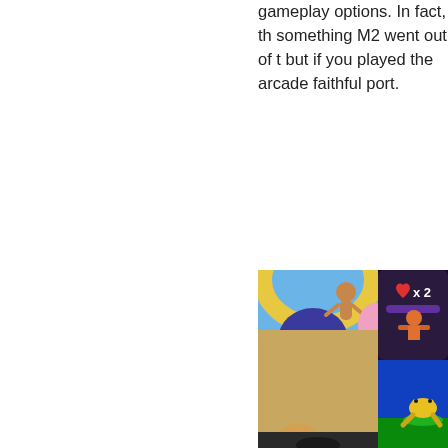gameplay options. In fact, the something M2 went out of t... but if you played the arcade faithful port.
[Figure (photo): Screenshot composite image showing a colorful arcade/video game scene with cartoon characters including a monkey and a large blue character with gold stripes, alongside a game UI overlay showing a heart icon with 'x2' and a small game screen with a yellow frog on a green platform against a blue background.]